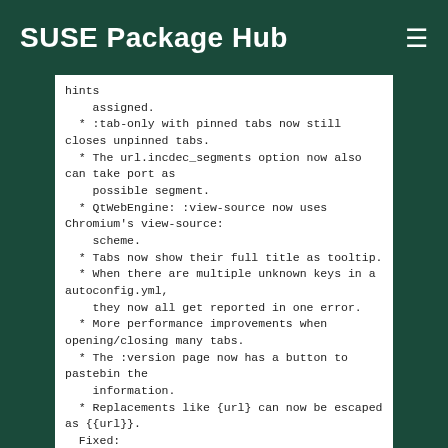SUSE Package Hub
hints
    assigned.
  * :tab-only with pinned tabs now still closes unpinned tabs.
  * The url.incdec_segments option now also can take port as
    possible segment.
  * QtWebEngine: :view-source now uses Chromium's view-source:
    scheme.
  * Tabs now show their full title as tooltip.
  * When there are multiple unknown keys in a autoconfig.yml,
    they now all get reported in one error.
  * More performance improvements when opening/closing many tabs.
  * The :version page now has a button to pastebin the
    information.
  * Replacements like {url} can now be escaped as {{url}}.
  Fixed:
  * QtWebEngine bugfixes:
    + Improved fullscreen handling with Qt 5.10.